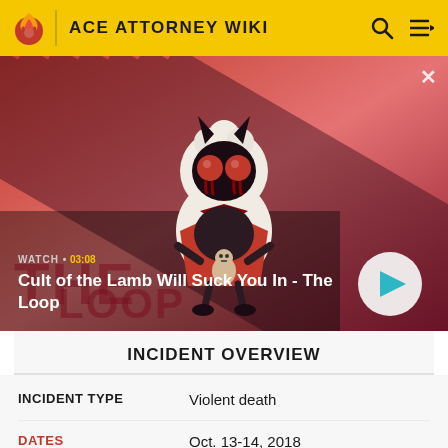ACE ATTORNEY WIKI
[Figure (screenshot): Video thumbnail for Cult of the Lamb Will Suck You In - The Loop. Shows a cute creature with horns and red glowing eyes on a diagonal striped red and dark background. Labels: WATCH • 03:08, title text visible. Play button circle in bottom right.]
WATCH • 03:08
Cult of the Lamb Will Suck You In - The Loop
INCIDENT OVERVIEW
| INCIDENT TYPE | Violent death |
| DATES | Oct. 13-14, 2018 |